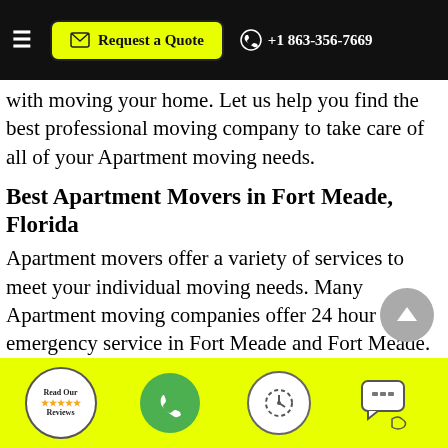Request a Quote | +1 863-356-7669
with moving your home. Let us help you find the best professional moving company to take care of all of your Apartment moving needs.
Best Apartment Movers in Fort Meade, Florida
Apartment movers offer a variety of services to meet your individual moving needs. Many Apartment moving companies offer 24 hour emergency service in Fort Meade and Fort Meade. Apartment moving day is a very stressful time and Apartment moving day is one of the busiest days for the entire moving business. A moving
Read Our Reviews | Phone | Schedule | Chat